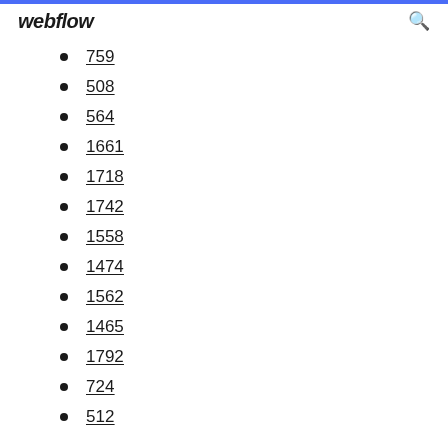webflow
759
508
564
1661
1718
1742
1558
1474
1562
1465
1792
724
512